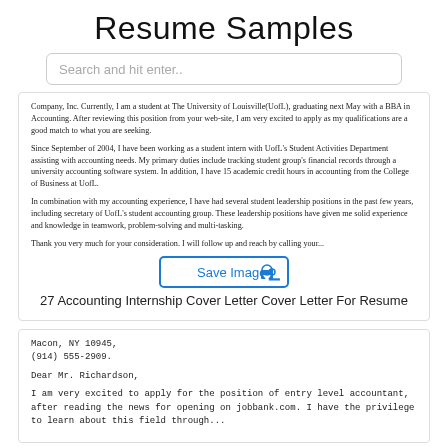Resume Samples
Search and hit enter..
Company, Inc. Currently, I am a student at The University of Louisville(UofL), graduating next May with a BBA in Accounting. After reviewing this position from your web-site, I am very excited to apply as my qualifications are a good match to what you are seeking.

Since September of 2004, I have been working as a student intern with UofL's Student Activities Department assisting with accounting needs. My primary duties include tracking student group's financial records through a university accounting software system. In addition, I have 15 academic credit hours in accounting from the College of Business at UofL.

In combination with my accounting experience, I have had several student leadership positions in the past few years, including secretary of UofL's student accounting group. These leadership positions have given me solid experience and knowledge in teamwork, problem-solving and multi-tasking.

Thank you very much for your consideration. I will follow up and reach by calling your...
27 Accounting Internship Cover Letter Cover Letter For Resume
Macon, NY 10945,
(914) 555-2909.

Dear Mr. Richardson,

I am very excited to apply for the position of entry level accountant, after reading the news for opening on jobbank.com. I have the privilege to learn about this field through...